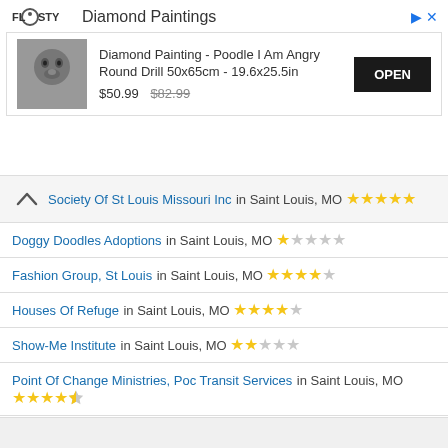[Figure (infographic): Advertisement banner for Diamond Paintings app (Flosty). Shows product: Diamond Painting - Poodle I Am Angry Round Drill 50x65cm - 19.6x25.5in, priced $50.99 with strikethrough $82.99, and an OPEN button.]
Society Of St Louis Missouri Inc in Saint Louis, MO ★★★★★
Doggy Doodles Adoptions in Saint Louis, MO ★☆☆☆☆
Fashion Group, St Louis in Saint Louis, MO ★★★★☆
Houses Of Refuge in Saint Louis, MO ★★★★☆
Show-Me Institute in Saint Louis, MO ★★☆☆☆
Point Of Change Ministries, Poc Transit Services in Saint Louis, MO ★★★★½
Ozark Airlines Museum Inc in Saint Louis, MO ★★★☆☆
Fraternal Order Of Police Lodge 15 Charitable Foundation in Saint Louis, MO ★☆☆☆☆
Kiwanis International Inc, Kiwanis Club Of Pulaski County in Waynesville, MO ★★★★★
Missouri Peach Fair C/O Janice Schatz in Campbell, MO